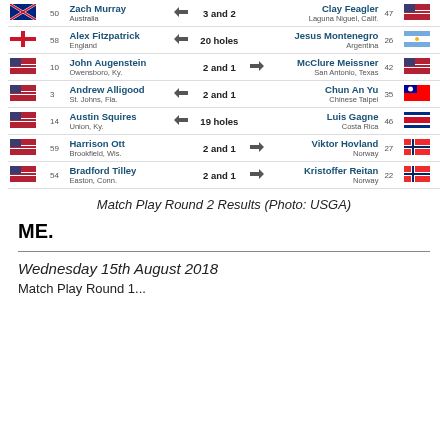| Flag | Seed | Player (Home) | Arrow | Result | Arrow | Player (Away) | Seed | Flag |
| --- | --- | --- | --- | --- | --- | --- | --- | --- |
| Australia | 50 | Zach Murray / Australia | ◀ | 3 and 2 |  | Clay Feagler / Laguna Niguel, Calif. | 47 | USA |
| England | 58 | Alex Fitzpatrick / England | ◀ | 20 holes |  | Jesus Montenegro / Argentina | 26 | Argentina |
| USA | 10 | John Augenstein / Owensboro, Ky. |  | 2 and 1 | ▶ | McClure Meissner / San Antonio, Texas | 42 | USA |
| USA | 3 | Andrew Alligood / St. Johns, Fla. | ◀ | 2 and 1 |  | Chun An Yu / Chinese Taipei | 35 | Chinese Taipei |
| USA | 14 | Austin Squires / Union, Ky. | ◀ | 19 holes |  | Luis Gagne / Costa Rica | 46 | Costa Rica |
| USA | 59 | Harrison Ott / Brookfield, Wis. |  | 2 and 1 | ▶ | Viktor Hovland / Norway | 27 | Norway |
| USA | 54 | Bradford Tilley / Easton, Conn. |  | 2 and 1 | ▶ | Kristoffer Reitan / Norway | 22 | Norway |
Match Play Round 2 Results (Photo: USGA)
ME.
Wednesday 15th August 2018
Match Play Round 1...